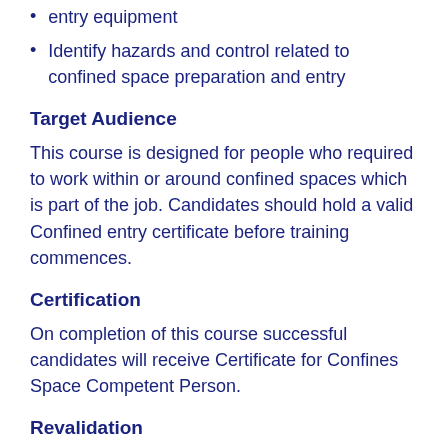entry equipment
Identify hazards and control related to confined space preparation and entry
Target Audience
This course is designed for people who required to work within or around confined spaces which is part of the job. Candidates should hold a valid Confined entry certificate before training commences.
Certification
On completion of this course successful candidates will receive Certificate for Confines Space Competent Person.
Revalidation
There is no revalidation period for this type of